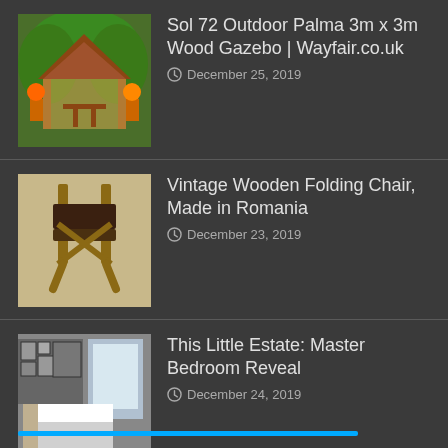Sol 72 Outdoor Palma 3m x 3m Wood Gazebo | Wayfair.co.uk — December 25, 2019
Vintage Wooden Folding Chair, Made in Romania — December 23, 2019
This Little Estate: Master Bedroom Reveal — December 24, 2019
Painted Mid Century Modern China Cabinet — December 24, 2019
Space Saver Convertible Wall Mounted Desk — December 25, 2019